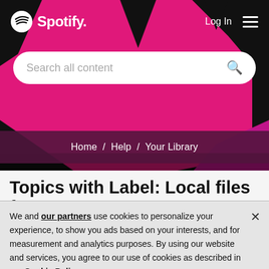[Figure (screenshot): Spotify website header with pink and black geometric background, navigation bar with Spotify logo, Log In link, and hamburger menu, plus a search bar reading 'Search all content']
Home / Help / Your Library
Topics with Label: Local files for
We and our partners use cookies to personalize your experience, to show you ads based on your interests, and for measurement and analytics purposes. By using our website and services, you agree to our use of cookies as described in our Cookie Policy.